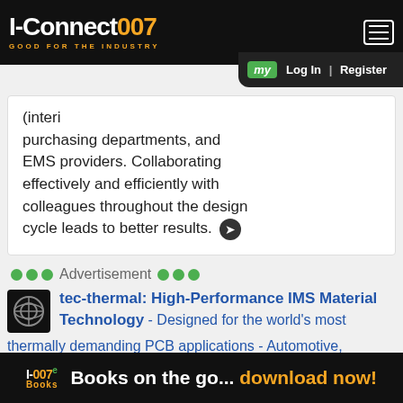I-Connect007 - GOOD FOR THE INDUSTRY
(interi... purchasing departments, and EMS providers. Collaborating effectively and efficiently with colleagues throughout the design cycle leads to better results.
Advertisement
tec-thermal: High-Performance IMS Material Technology - Designed for the world's most thermally demanding PCB applications - Automotive, medical, industrial, aerospace & military manufacturers rely on Ventec for the latest advances in IMS materials that deliver an exceptional thermal performance,
I-007e Books - Books on the go... download now!